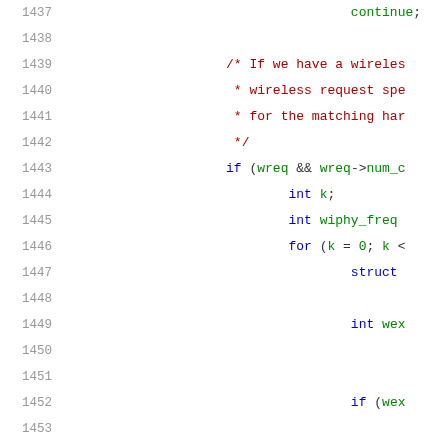[Figure (screenshot): Source code listing showing lines 1437-1457 of a C source file. Lines include 'continue;', a block comment about wireless requests, an if-statement checking 'wreq && wreq->num_c...', variable declarations 'int k;' and 'int wiphy_freq...', a for loop, struct declaration, 'int wex...', 'if (wex...', closing brace, 'goto wext_freq_...', closing brace, and blank lines.]